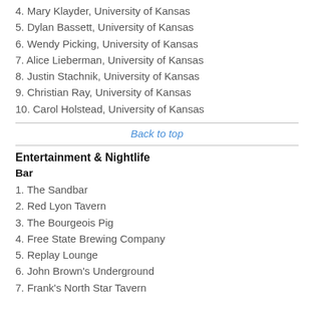4. Mary Klayder, University of Kansas
5. Dylan Bassett, University of Kansas
6. Wendy Picking, University of Kansas
7. Alice Lieberman, University of Kansas
8. Justin Stachnik, University of Kansas
9. Christian Ray, University of Kansas
10. Carol Holstead, University of Kansas
Back to top
Entertainment & Nightlife
Bar
1. The Sandbar
2. Red Lyon Tavern
3. The Bourgeois Pig
4. Free State Brewing Company
5. Replay Lounge
6. John Brown's Underground
7. Frank's North Star Tavern